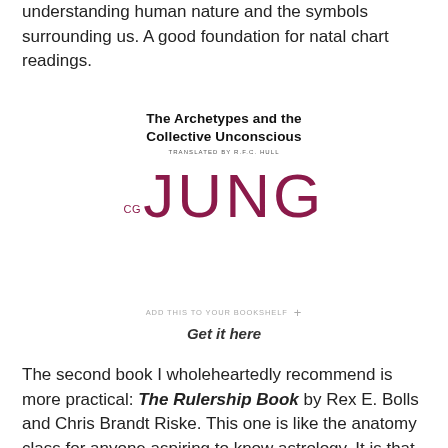understanding human nature and the symbols surrounding us. A good foundation for natal chart readings.
[Figure (illustration): Book cover of 'The Archetypes and the Collective Unconscious' by CG Jung, showing bold crimson 'JUNG' lettering with small 'CG' superscript, and subtitle text.]
Get it here
The second book I wholeheartedly recommend is more practical: The Rulership Book by Rex E. Bolls and Chris Brandt Riske. This one is like the anatomy class for anyone aspiring to know astrology. It is that essential. I know several